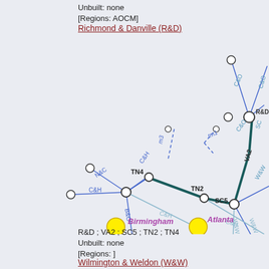Unbuilt: none
[Regions: AOCM]
Richmond & Danville (R&D)
[Figure (network-graph): Railroad network graph showing nodes labeled Birmingham, Atlanta, TN4, TN2, SC5, VA2, R&D and connecting edges labeled with railroad company codes: C&H, C&O, N&C, B&O, W&W, m3, tm1. Birmingham and Atlanta nodes are filled yellow. Other nodes are hollow circles.]
R&D ; VA2 ; SC5 ; TN2 ; TN4
Unbuilt: none
[Regions: ]
Wilmington & Weldon (W&W)